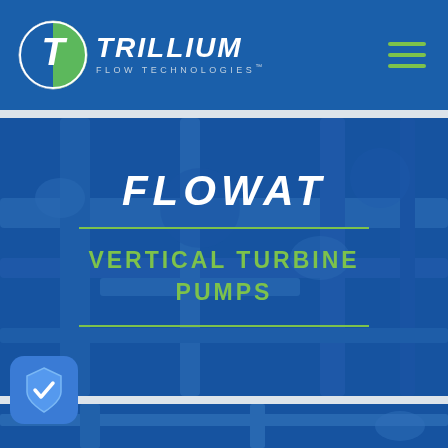[Figure (logo): Trillium Flow Technologies logo with circular T emblem and company name]
FLOWAT
VERTICAL TURBINE PUMPS
[Figure (photo): Industrial pump equipment background photo with blue overlay]
[Figure (illustration): Blue shield with checkmark security badge icon in bottom left corner]